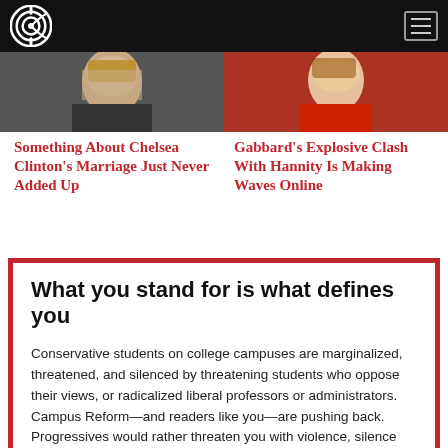Campus Reform
[Figure (photo): Two side-by-side cropped photos of women, left photo shows a blonde woman, right shows a woman in a red outfit]
Something About Chelsea Clinton's Marriage Just Never Added Up
Gabbard's Explosive Clash With Hannity Is Making Waves Online
What you stand for is what defines you
Conservative students on college campuses are marginalized, threatened, and silenced by threatening students who oppose their views, or radicalized liberal professors or administrators. Campus Reform—and readers like you—are pushing back. Progressives would rather threaten you with violence, silence your conservative views, or call for